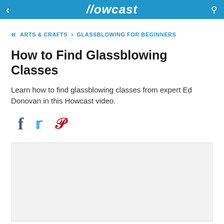Howcast
« ARTS & CRAFTS > GLASSBLOWING FOR BEGINNERS
How to Find Glassblowing Classes
Learn how to find glassblowing classes from expert Ed Donovan in this Howcast video.
[Figure (other): Social media share icons: Facebook, Twitter, Pinterest]
[Figure (other): Video player placeholder area with light gray background]